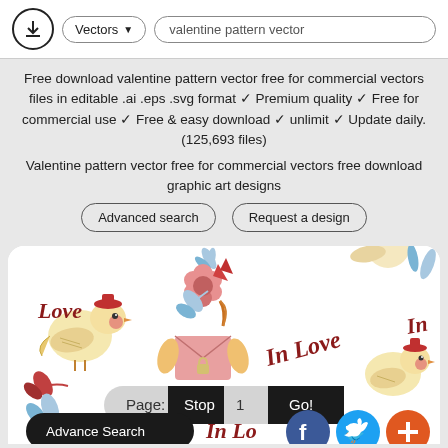Vectors ▾  valentine pattern vector
Free download valentine pattern vector free for commercial vectors files in editable .ai .eps .svg format ✓ Premium quality ✓ Free for commercial use ✓ Free & easy download ✓ unlimit ✓ Update daily. (125,693 files)
Valentine pattern vector free for commercial vectors free download graphic art designs
Advanced search   Request a design
[Figure (illustration): Valentine pattern vector illustration showing birds, flowers, leaves, pink envelope, and decorative 'Love', 'In Love', 'In' text in red italic script on white background. Page navigation bar showing Page: Stop 1 Go! at bottom. Advance Search button and Facebook, Twitter, and plus social icons at very bottom.]